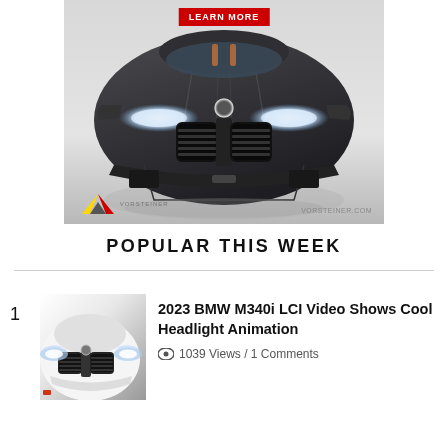[Figure (photo): Advertisement banner for Vorsteiner.com showing a front-facing dark gray BMW M4 with aftermarket body kit. A red 'LEARN MORE' button appears at the top center. The Vorsteiner logo and URL are visible at the bottom.]
POPULAR THIS WEEK
[Figure (photo): Thumbnail image of a white BMW front end showing headlights and grille, close-up view.]
2023 BMW M340i LCI Video Shows Cool Headlight Animation
1039 Views / 1 Comments